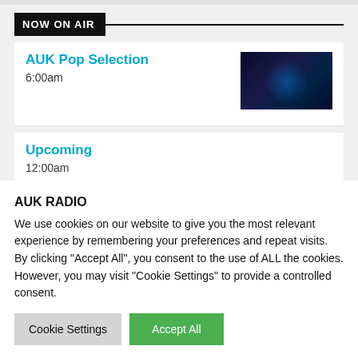NOW ON AIR
AUK Pop Selection
6:00am
Upcoming
12:00am
YOUTHOLOGY
AUK RADIO
We use cookies on our website to give you the most relevant experience by remembering your preferences and repeat visits. By clicking “Accept All”, you consent to the use of ALL the cookies. However, you may visit "Cookie Settings" to provide a controlled consent.
Cookie Settings
Accept All